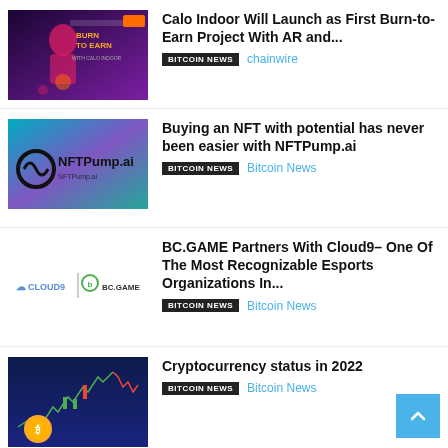[Figure (illustration): Calo Indoor promotional banner with 'Burn to Earn with Calo Indoor' text and an anime-style character]
Calo Indoor Will Launch as First Burn-to-Earn Project With AR and...
BITCOIN NEWS  chainwire
[Figure (logo): NFTPump.ai logo on teal/purple gradient background]
Buying an NFT with potential has never been easier with NFTPump.ai
BITCOIN NEWS  Bitcoin News
[Figure (logo): Cloud9 and BC.GAME logos side by side on white background]
BC.GAME Partners With Cloud9– One Of The Most Recognizable Esports Organizations In...
BITCOIN NEWS  Bitcoin News
[Figure (photo): Cryptocurrency chart with Bitcoin coin on dark blue background]
Cryptocurrency status in 2022
BITCOIN NEWS  Bitcoin News